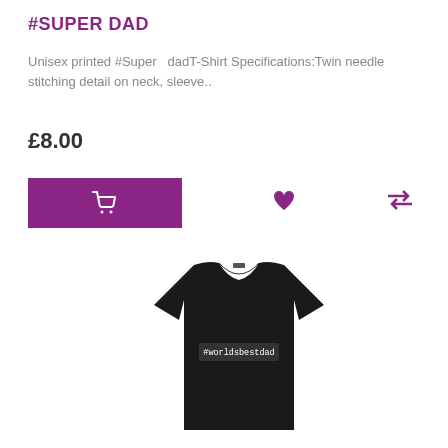#SUPER DAD
Unisex printed #Super   dadT-Shirt Specifications:Twin needle stitching detail on neck, sleeve..
£8.00
[Figure (photo): Black t-shirt with white text '#worldsbestdad' printed on the front]
[Figure (infographic): Add to cart button (purple rectangle with shopping cart icon), heart/wishlist icon in purple, compare icon with two arrows in purple]